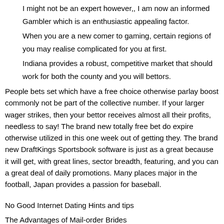I might not be an expert however,, I am now an informed Gambler which is an enthusiastic appealing factor.
When you are a new comer to gaming, certain regions of you may realise complicated for you at first.
Indiana provides a robust, competitive market that should work for both the county and you will bettors.
People bets set which have a free choice otherwise parlay boost commonly not be part of the collective number. If your larger wager strikes, then your bettor receives almost all their profits, needless to say! The brand new totally free bet do expire otherwise utilized in this one week out of getting they. The brand new DraftKings Sportsbook software is just as a great because it will get, with great lines, sector breadth, featuring, and you can a great deal of daily promotions. Many places major in the football, Japan provides a passion for baseball.
No Good Internet Dating Hints and tips
The Advantages of Mail-order Brides